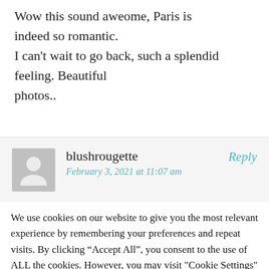Wow this sound aweome, Paris is indeed so romantic.
I can't wait to go back, such a splendid feeling. Beautiful photos..
blushrougette
February 3, 2021 at 11:07 am
Reply
We use cookies on our website to give you the most relevant experience by remembering your preferences and repeat visits. By clicking “Accept All”, you consent to the use of ALL the cookies. However, you may visit "Cookie Settings" to provide a controlled consent.
Cookie Settings
Accept All